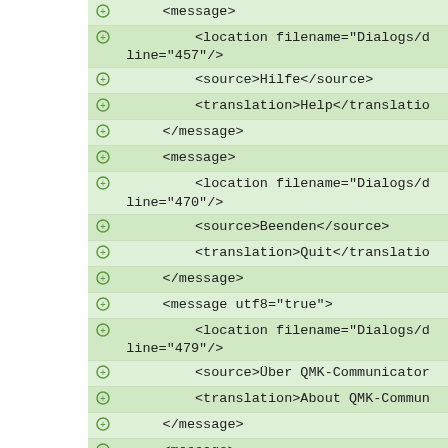<message>
<location filename="Dialogs/d" line="457"/>
<source>Hilfe</source>
<translation>Help</translation>
</message>
<message>
<location filename="Dialogs/d" line="470"/>
<source>Beenden</source>
<translation>Quit</translation>
</message>
<message utf8="true">
<location filename="Dialogs/d" line="479"/>
<source>Über QMK-Communicator
<translation>About QMK-Commun
</message>
<message>
<location filename="Dialogs/d" line="488"/>
<source>Einstellungen</source>
<translation>Preferences</translation>
</message>